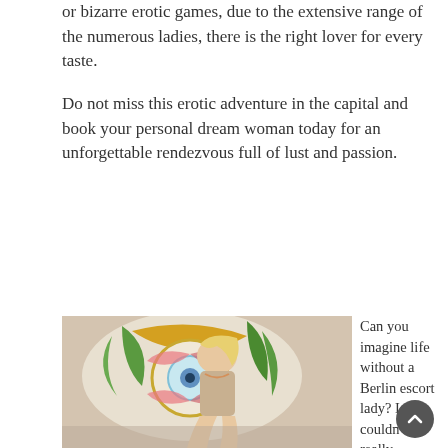or bizarre erotic games, due to the extensive range of the numerous ladies, there is the right lover for every taste.
Do not miss this erotic adventure in the capital and book your personal dream woman today for an unforgettable rendezvous full of lust and passion.
[Figure (photo): A blonde woman in a beige outfit sitting in front of a colorful stained glass window with eye motif]
Can you imagine life without a Berlin escort lady? I couldn't really imagine my life without a suitor. I need these special hours that belong only to both of us. You can finally let yourself go. Here you can be yourself. I want to wake up the real guy in you. Be